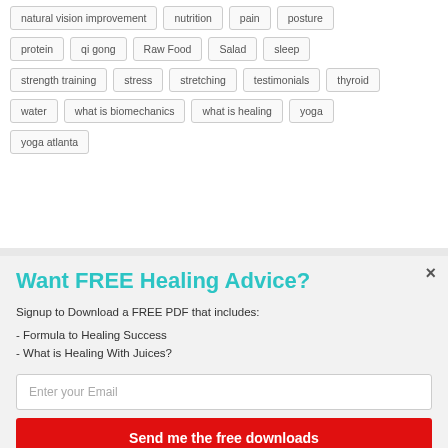natural vision improvement
nutrition
pain
posture
protein
qi gong
Raw Food
Salad
sleep
strength training
stress
stretching
testimonials
thyroid
water
what is biomechanics
what is healing
yoga
yoga atlanta
Want FREE Healing Advice?
Signup to Download a FREE PDF that includes:
- Formula to Healing Success
- What is Healing With Juices?